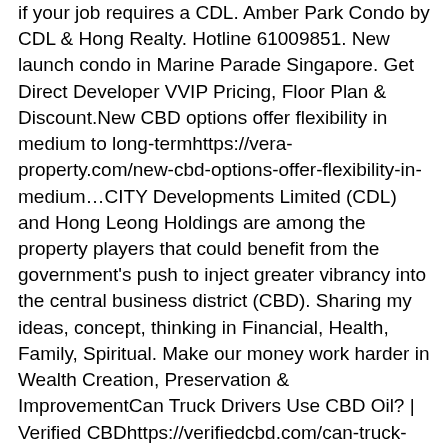if your job requires a CDL. Amber Park Condo by CDL & Hong Realty. Hotline 61009851. New launch condo in Marine Parade Singapore. Get Direct Developer VVIP Pricing, Floor Plan & Discount.New CBD options offer flexibility in medium to long-termhttps://vera-property.com/new-cbd-options-offer-flexibility-in-medium…CITY Developments Limited (CDL) and Hong Leong Holdings are among the property players that could benefit from the government's push to inject greater vibrancy into the central business district (CBD). Sharing my ideas, concept, thinking in Financial, Health, Family, Spiritual. Make our money work harder in Wealth Creation, Preservation & ImprovementCan Truck Drivers Use CBD Oil? | Verified CBDhttps://verifiedcbd.com/can-truck-drivers-use-cbd-oilCan truck drivers use CBD oil? This question is a particularly burning one for truckers and long-distance drivers. Let's find out the answer. Nejnovější tweety od uživatele Kick CBD (@KickCBD). Don't let stiffness, joint pain, and muscle fatigue hold you back. Try our line of Kick CBD products and get back